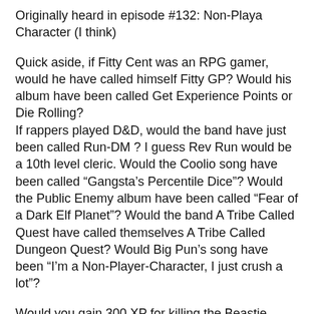Originally heard in episode #132: Non-Playa Character (I think)
Quick aside, if Fitty Cent was an RPG gamer, would he have called himself Fitty GP? Would his album have been called Get Experience Points or Die Rolling?
If rappers played D&D, would the band have just been called Run-DM ? I guess Rev Run would be a 10th level cleric. Would the Coolio song have been called “Gangsta’s Percentile Dice”? Would the Public Enemy album have been called “Fear of a Dark Elf Planet”? Would the band A Tribe Called Quest have called themselves A Tribe Called Dungeon Quest? Would Big Pun’s song have been “I’m a Non-Player-Character, I just crush a lot”?
Would you gain 300 XP for killing the Beastie Boys? Would Jay-Z have said, “I got 99 Goblins but a Lich Ain’t One”? How many Experience Points would it take for a Paladin to achieve the level of Suge Knight? Would that require you to dangle Vanilla Ice out of a window, after listening to, “Ice Ice Golem”? How would Flavor Flav’s massive clock necklace affect his armor class? Would you need to make a Saving Throw if you got the Gas Face? You know, the Gas Face? 3rd Bass? OK, apparently, no one else remembers them. Would the Wu-Tang Clan have been